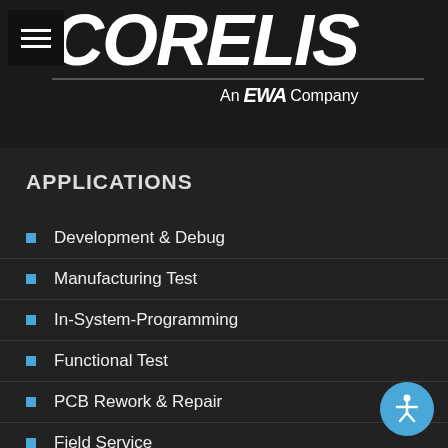[Figure (logo): Corelis logo with hamburger menu icon, 'CORELIS' in large bold italic white text, a horizontal divider line, and 'An EWA Company' subtitle underneath, all on dark background]
APPLICATIONS
Development & Debug
Manufacturing Test
In-System-Programming
Functional Test
PCB Rework & Repair
Field Service
[Figure (illustration): Accessibility icon button — blue circle with white human figure with arms outstretched]